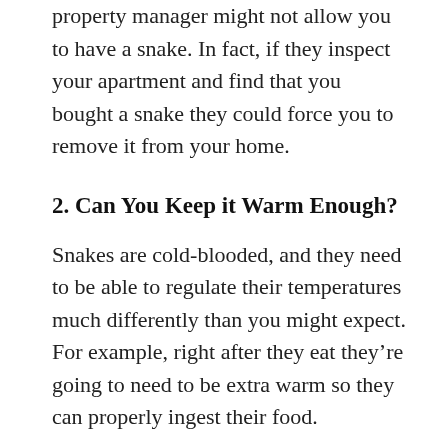property manager might not allow you to have a snake. In fact, if they inspect your apartment and find that you bought a snake they could force you to remove it from your home.
2. Can You Keep it Warm Enough?
Snakes are cold-blooded, and they need to be able to regulate their temperatures much differently than you might expect. For example, right after they eat they’re going to need to be extra warm so they can properly ingest their food.
3. Is It Going to be Humid Enough?
Remember that snakes aren’t like dogs or cats. Most